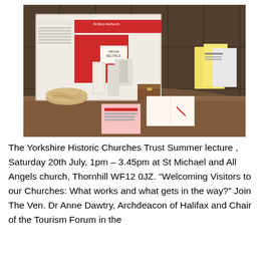[Figure (photo): A church display table in a dark wood-panelled room. On the table are various leaflets, pamphlets, a small wooden box, a bowl with rope, and an open book with a pen. Behind on a noticeboard is a large red and white display about St Mary Abchurch with text and images including 'ORGAN RECITALS'. Yellow and white booklets are propped at the right.]
The Yorkshire Historic Churches Trust Summer lecture , Saturday 20th July, 1pm – 3.45pm at St Michael and All Angels church, Thornhill WF12 0JZ. “Welcoming Visitors to our Churches: What works and what gets in the way?” Join The Ven. Dr Anne Dawtry, Archdeacon of Halifax and Chair of the Tourism Forum in the